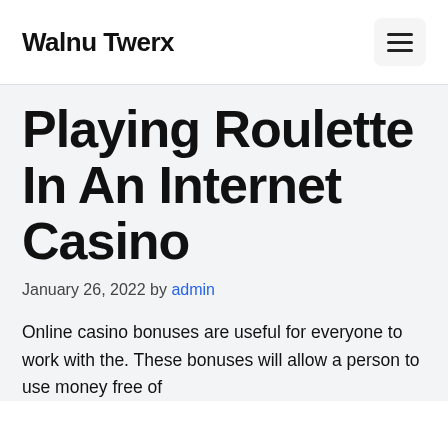Walnu Twerx
Playing Roulette In An Internet Casino
January 26, 2022 by admin
Online casino bonuses are useful for everyone to work with the. These bonuses will allow a person to use money free of